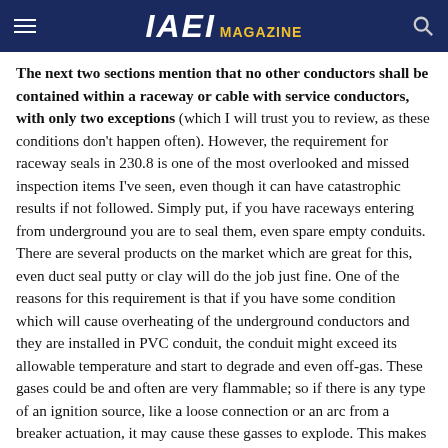IAEI MAGAZINE
The next two sections mention that no other conductors shall be contained within a raceway or cable with service conductors, with only two exceptions (which I will trust you to review, as these conditions don't happen often). However, the requirement for raceway seals in 230.8 is one of the most overlooked and missed inspection items I've seen, even though it can have catastrophic results if not followed. Simply put, if you have raceways entering from underground you are to seal them, even spare empty conduits. There are several products on the market which are great for this, even duct seal putty or clay will do the job just fine. One of the reasons for this requirement is that if you have some condition which will cause overheating of the underground conductors and they are installed in PVC conduit, the conduit might exceed its allowable temperature and start to degrade and even off-gas. These gases could be and often are very flammable; so if there is any type of an ignition source, like a loose connection or an arc from a breaker actuation, it may cause these gasses to explode. This makes for